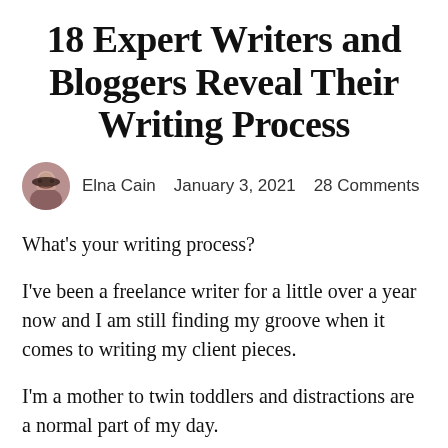18 Expert Writers and Bloggers Reveal Their Writing Process
Elna Cain  January 3, 2021  28 Comments
What's your writing process?
I've been a freelance writer for a little over a year now and I am still finding my groove when it comes to writing my client pieces.
I'm a mother to twin toddlers and distractions are a normal part of my day.